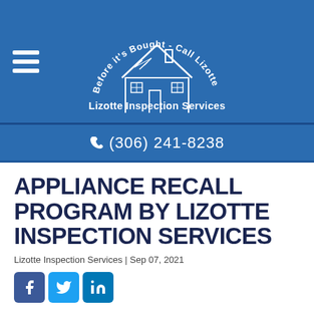Lizotte Inspection Services — Before it's Bought - Call Lizotte
(306) 241-8238
APPLIANCE RECALL PROGRAM BY LIZOTTE INSPECTION SERVICES
Lizotte Inspection Services | Sep 07, 2021
[Figure (other): Social share icons: Facebook, Twitter, LinkedIn]
[Figure (photo): Article featured image showing a magnifying glass over an appliance with RecallChek branding on a blue background]